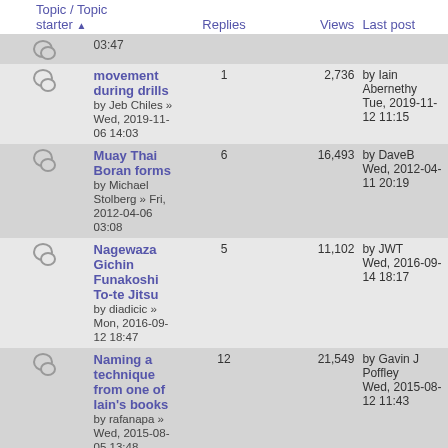| Topic / Topic starter | Replies | Views | Last post |
| --- | --- | --- | --- |
| (partial) 03:47 |  |  |  |
| movement during drills
by Jeb Chiles » Wed, 2019-11-06 14:03 | 1 | 2,736 | by Iain Abernethy
Tue, 2019-11-12 11:15 |
| Muay Thai Boran forms
by Michael Stolberg » Fri, 2012-04-06 03:08 | 6 | 16,493 | by DaveB
Wed, 2012-04-11 20:19 |
| Nagewaza Gichin Funakoshi To-te Jitsu
by diadicic » Mon, 2016-09-12 18:47 | 5 | 11,102 | by JWT
Wed, 2016-09-14 18:17 |
| Naming a technique from one of Iain's books
by rafanapa » Wed, 2015-08-05 13:48 | 12 | 21,549 | by Gavin J Poffley
Wed, 2015-08-12 11:43 |
| Newton's Third Law (Page: 1, 2)
by arogers » Tue, 2017-01-03 23:35 | 32 | 50,134 | by Dennis Krawec
Tue, 2017-02-14 10:33 |